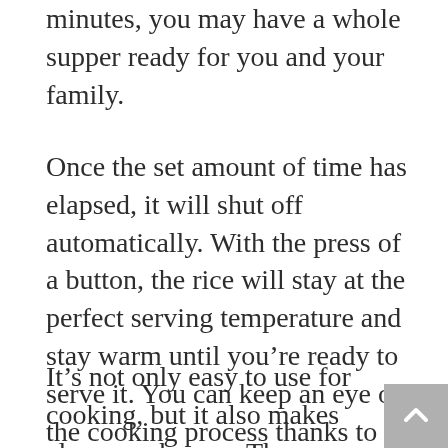minutes, you may have a whole supper ready for you and your family.
Once the set amount of time has elapsed, it will shut off automatically. With the press of a button, the rice will stay at the perfect serving temperature and stay warm until you’re ready to serve it. You can keep an eye on the cooking process thanks to the glass cover.
It’s not only easy to use for cooking, but it also makes cleanup a breeze. The inside bowl is detachable and nonstick